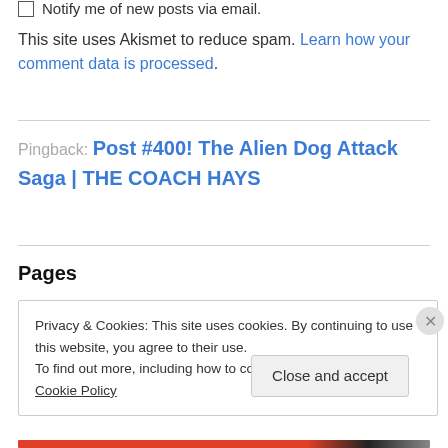☐ Notify me of new posts via email.
This site uses Akismet to reduce spam. Learn how your comment data is processed.
Pingback: Post #400! The Alien Dog Attack Saga | THE COACH HAYS
Pages
Privacy & Cookies: This site uses cookies. By continuing to use this website, you agree to their use.
To find out more, including how to control cookies, see here: Cookie Policy
Close and accept